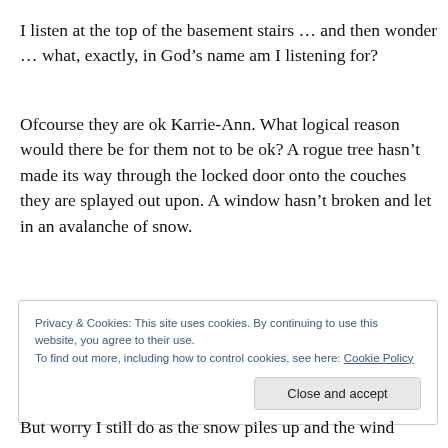I listen at the top of the basement stairs … and then wonder … what, exactly, in God’s name am I listening for?
Ofcourse they are ok Karrie-Ann. What logical reason would there be for them not to be ok? A rogue tree hasn’t made its way through the locked door onto the couches they are splayed out upon. A window hasn’t broken and let in an avalanche of snow.
Privacy & Cookies: This site uses cookies. By continuing to use this website, you agree to their use.
To find out more, including how to control cookies, see here: Cookie Policy
But worry I still do as the snow piles up and the wind